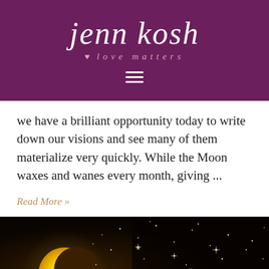jenn kosh ♥ love matters
we have a brilliant opportunity today to write down our visions and see many of them materialize very quickly. While the Moon waxes and wanes every month, giving ...
Read More »
[Figure (illustration): Dark space scene with a crescent moon glowing yellow-gold on the left, stars and sparkles scattered across a dark brown-black background, with a shooting star or comet trail in the center-right area.]